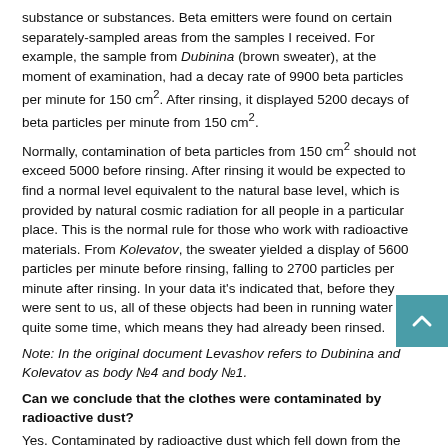substance or substances. Beta emitters were found on certain separately-sampled areas from the samples I received. For example, the sample from Dubinina (brown sweater), at the moment of examination, had a decay rate of 9900 beta particles per minute for 150 cm². After rinsing, it displayed 5200 decays of beta particles per minute from 150 cm².
Normally, contamination of beta particles from 150 cm² should not exceed 5000 before rinsing. After rinsing it would be expected to find a normal level equivalent to the natural base level, which is provided by natural cosmic radiation for all people in a particular place. This is the normal rule for those who work with radioactive materials. From Kolevatov, the sweater yielded a display of 5600 particles per minute before rinsing, falling to 2700 particles per minute after rinsing. In your data it's indicated that, before they were sent to us, all of these objects had been in running water for quite some time, which means they had already been rinsed.
Note: In the original document Levashov refers to Dubinina and Kolevatov as body №4 and body №1.
Can we conclude that the clothes were contaminated by radioactive dust?
Yes. Contaminated by radioactive dust which fell down from the atmosphere, or these clothes were contaminated while working with radioactive substances, or via contact. This particular contamination exceeds the normal level for people who work with radioactive substances.
What was the real degree of contamination of some objects considering